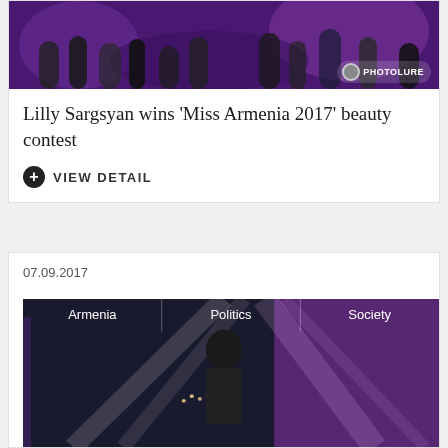[Figure (photo): Crowd at Miss Armenia 2017 beauty contest with purple stage lighting, Photolure watermark]
Lilly Sargsyan wins 'Miss Armenia 2017' beauty contest
+ VIEW DETAIL
07.09.2017
[Figure (photo): Stage scene with a bearded man in suit, Armenia, Politics, Society navigation overlay, colorful stage lighting with pink and purple tones]